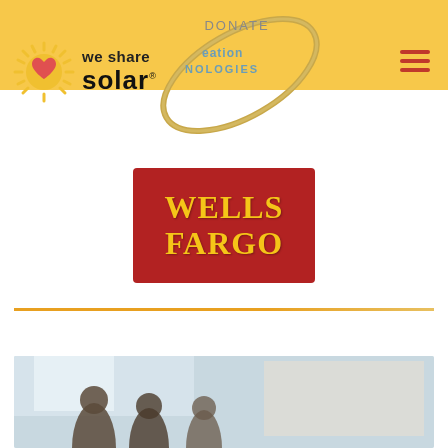[Figure (logo): We Share Solar logo with sun icon and bold text]
[Figure (logo): Creation Technologies logo with orbital ring graphic and DONATE text in header]
DONATE
[Figure (logo): Wells Fargo logo — bold yellow text on red background square]
[Figure (photo): Bottom portion of a photo showing people in what appears to be a classroom or workshop setting]